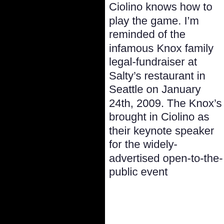Ciolino knows how to play the game. I’m reminded of the infamous Knox family legal-fundraiser at Salty’s restaurant in Seattle on January 24th, 2009. The Knox’s brought in Ciolino as their keynote speaker for the widely-advertised open-to-the-public event